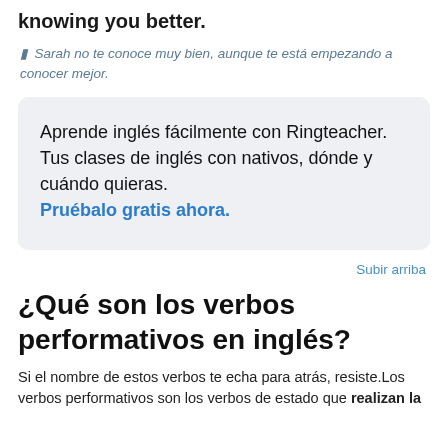knowing you better.
◁  Sarah no te conoce muy bien, aunque te está empezando a conocer mejor.
Aprende inglés fácilmente con Ringteacher. Tus clases de inglés con nativos, dónde y cuándo quieras. Pruébalo gratis ahora.
Subir arriba
¿Qué son los verbos performativos en inglés?
Si el nombre de estos verbos te echa para atrás, resiste.Los verbos performativos son los verbos de estado que realizan la